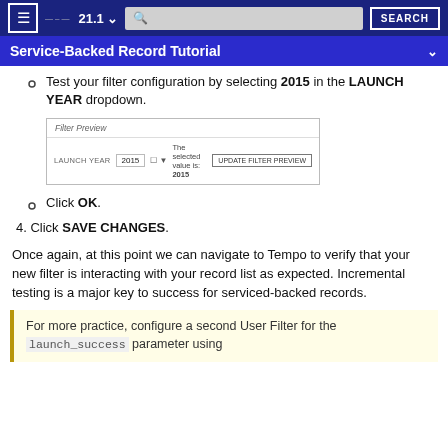≡  21.1 ∨  [search]  SEARCH
Service-Backed Record Tutorial
Test your filter configuration by selecting 2015 in the LAUNCH YEAR dropdown.
[Figure (screenshot): Filter Preview panel showing LAUNCH YEAR set to 2015 with 'The selected value is: 2015' and an UPDATE FILTER PREVIEW button]
Click OK.
4. Click SAVE CHANGES.
Once again, at this point we can navigate to Tempo to verify that your new filter is interacting with your record list as expected. Incremental testing is a major key to success for serviced-backed records.
For more practice, configure a second User Filter for the launch_success parameter using